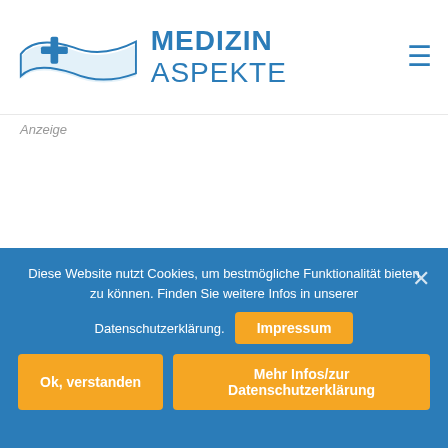MEDIZIN ASPEKTE
Anzeige
Diese Website nutzt Cookies, um bestmögliche Funktionalität bieten zu können. Finden Sie weitere Infos in unserer Datenschutzerklärung. Impressum Ok, verstanden Mehr Infos/zur Datenschutzerklärung